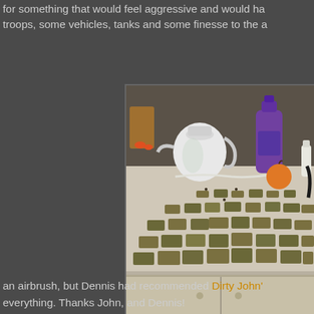for something that would feel aggressive and would ha... troops, some vehicles, tanks and some finesse to the a...
[Figure (photo): Miniature military vehicles and tanks arranged on a kitchen counter, with a kettle, scissors, purple bottle, and an apple visible in the background.]
an airbrush, but Dennis had recommended Dirty John'... everything. Thanks John, and Dennis!